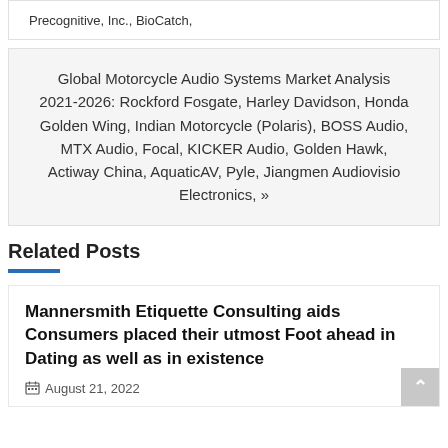Precognitive, Inc., BioCatch,
Global Motorcycle Audio Systems Market Analysis 2021-2026: Rockford Fosgate, Harley Davidson, Honda Golden Wing, Indian Motorcycle (Polaris), BOSS Audio, MTX Audio, Focal, KICKER Audio, Golden Hawk, Actiway China, AquaticAV, Pyle, Jiangmen Audiovisio Electronics, »
Related Posts
Mannersmith Etiquette Consulting aids Consumers placed their utmost Foot ahead in Dating as well as in existence
August 21, 2022